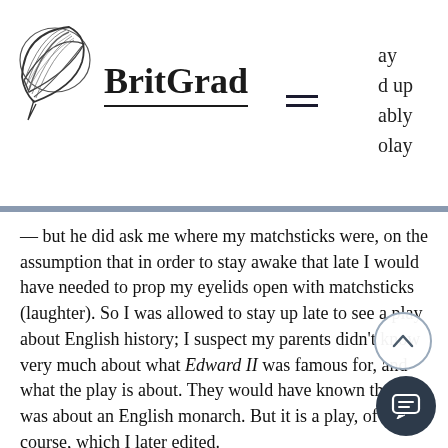BritGrad
— but he did ask me where my matchsticks were, on the assumption that in order to stay awake that late I would have needed to prop my eyelids open with matchsticks (laughter). So I was allowed to stay up late to see a play about English history; I suspect my parents didn't know very much about what Edward II was famous for, and what the play is about. They would have known that it was about an English monarch. But it is a play, of course, which I later edited.

On the other hand, I was not allowed to